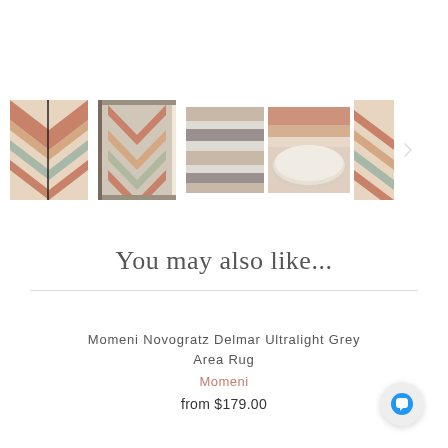[Figure (photo): Row of 5 rug thumbnail images showing geometric patterned area rugs in salmon, beige, grey, and teal colors]
You may also like...
Momeni Novogratz Delmar Ultralight Grey Area Rug
Momeni
from $179.00